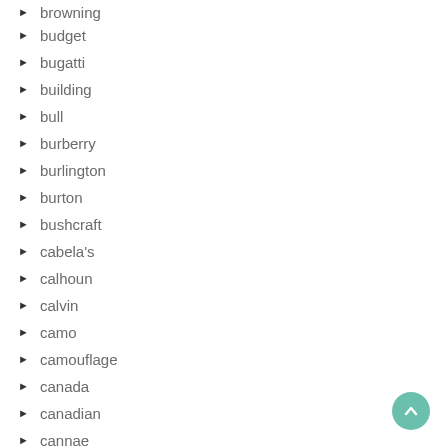browning
budget
bugatti
building
bull
burberry
burlington
burton
bushcraft
cabela's
calhoun
calvin
camo
camouflage
canada
canadian
cannae
carhartt